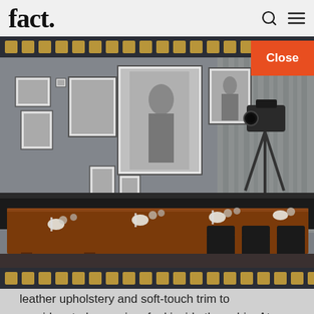fact.
[Figure (photo): Interior of a restaurant dining room with film photography theme. Long wooden dining table with black chairs, place settings with glasses and napkins. Black and white movie still photographs framed on gray textured wall. Vintage film camera on tripod in background right corner. Gray curtains on right side.]
leather upholstery and soft-touch trim to provide a truly premium feel inside the cabin. At the same time, the rhythmic, smooth lines create a comfortable and pleasant atmosphere.
[Figure (photo): Partial view of a dark vehicle exterior, bottom of the page.]